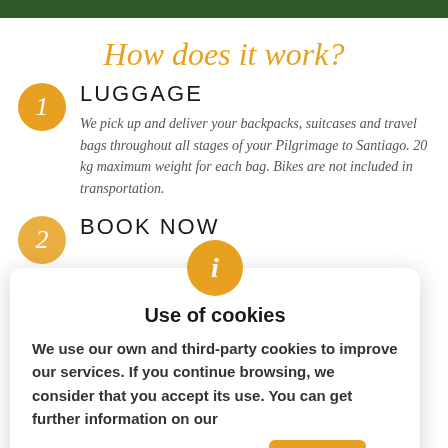How does it work?
LUGGAGE
We pick up and deliver your backpacks, suitcases and travel bags throughout all stages of your Pilgrimage to Santiago. 20 kg maximum weight for each bag. Bikes are not included in transportation.
BOOK NOW
Use of cookies
We use our own and third-party cookies to improve our services. If you continue browsing, we consider that you accept its use. You can get further information on our cookie policy on this web page.
stage  to select the pickup and delivery stage, the